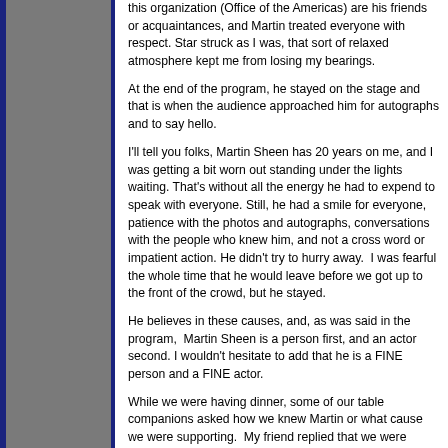this organization (Office of the Americas) are his friends or acquaintances, and Martin treated everyone with respect. Star struck as I was, that sort of relaxed atmosphere kept me from losing my bearings.
At the end of the program, he stayed on the stage and that is when the audience approached him for autographs and to say hello.
I'll tell you folks, Martin Sheen has 20 years on me, and I was getting a bit worn out standing under the lights waiting. That's without all the energy he had to expend to speak with everyone. Still, he had a smile for everyone, patience with the photos and autographs, conversations with the people who knew him, and not a cross word or impatient action. He didn't try to hurry away. I was fearful the whole time that he would leave before we got up to the front of the crowd, but he stayed.
He believes in these causes, and, as was said in the program, Martin Sheen is a person first, and an actor second. I wouldn't hesitate to add that he is a FINE person and a FINE actor.
While we were having dinner, some of our table companions asked how we knew Martin or what cause we were supporting. My friend replied that we were longtime fans of his work as an